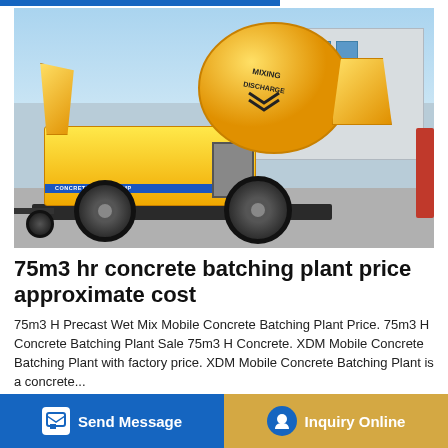[Figure (photo): Yellow concrete mixer pump machine (CONCRETE MIXER PUMP) on a trailer with large black wheels, parked on a concrete surface in front of a grey industrial building. The yellow drum has text 'MIXING DISCHARGE' on it. The machine has a blue stripe and a hopper on the right side.]
75m3 hr concrete batching plant price approximate cost
75m3 H Precast Wet Mix Mobile Concrete Batching Plant Price. 75m3 H Concrete Batching Plant Sale 75m3 H Concrete. XDM Mobile Concrete Batching Plant with factory price. XDM Mobile Concrete Batching Plant is a concrete ... acco... users who need frequent transitions short construction period